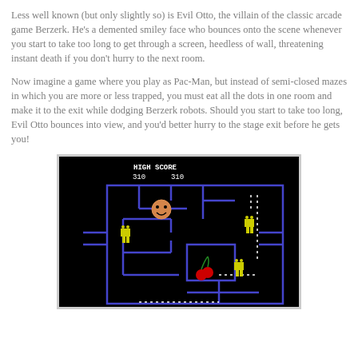Less well known (but only slightly so) is Evil Otto, the villain of the classic arcade game Berzerk. He's a demented smiley face who bounces onto the scene whenever you start to take too long to get through a screen, heedless of wall, threatening instant death if you don't hurry to the next room.
Now imagine a game where you play as Pac-Man, but instead of semi-closed mazes in which you are more or less trapped, you must eat all the dots in one room and make it to the exit while dodging Berzerk robots. Should you start to take too long, Evil Otto bounces into view, and you'd better hurry to the stage exit before he gets you!
[Figure (screenshot): Screenshot of a classic arcade game resembling a Pac-Man/Berzerk hybrid. Black background with blue maze walls. Shows a score display at top reading '310' and 'HIGH SCORE 310'. A smiley face character (Evil Otto) is visible in the upper area, yellow robot enemies are scattered around the maze, and a cherry item is in the lower center area. Dotted white lines indicate exit paths.]